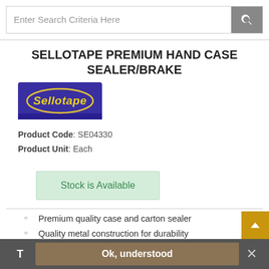Enter Search Criteria Here
SELLOTAPE PREMIUM HAND CASE SEALER/BRAKE
[Figure (logo): Sellotape brand logo — blue/purple background with yellow 'Sellotape' text in oval shape]
Product Code: SE04330
Product Unit: Each
Stock is Available
Premium quality case and carton sealer
Quality metal construction for durability
Moulded easy grip handle
Control brake to reduce wastage
For rolls up to 50mm wide and 132m long
T   Ok, understood   ✕